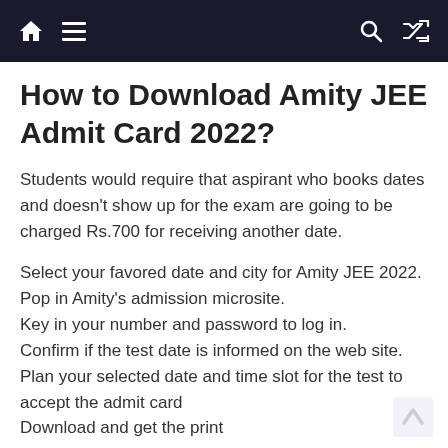Navigation bar with home, menu, search, and shuffle icons
How to Download Amity JEE Admit Card 2022?
Students would require that aspirant who books dates and doesn't show up for the exam are going to be charged Rs.700 for receiving another date.
Select your favored date and city for Amity JEE 2022.
Pop in Amity's admission microsite.
Key in your number and password to log in.
Confirm if the test date is informed on the web site.
Plan your selected date and time slot for the test to accept the admit card
Download and get the print